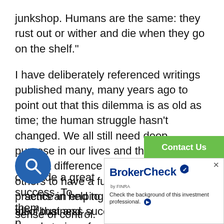junkshop. Humans are the same: they rust out or wither and die when they go on the shelf."
I have deliberately referenced writings published many, many years ago to point out that this dilemma is as old as time; the human struggle hasn't changed. We all still need deep purpose in our lives and the ability to make a difference for ourselves and for others to have a fulfilling life. In the practice in helping business owners exit their business successfully, I have heard stories of owners when facing the day of finalizing the sale of their company, don't show up for the signing. Why? Because all their self-identity and their purpose are in the company they start[ed and] [they] made a great success. To them, po[ssession] [re]presents an end to all of that and a[nd their] sense of control. But it doesn't; it does[n't...]
[Figure (other): Contact Us green button overlay (BrokerCheck widget from FINRA)]